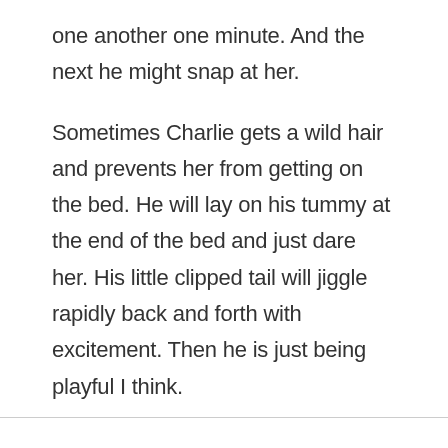one another one minute. And the next he might snap at her.
Sometimes Charlie gets a wild hair and prevents her from getting on the bed. He will lay on his tummy at the end of the bed and just dare her. His little clipped tail will jiggle rapidly back and forth with excitement. Then he is just being playful I think.